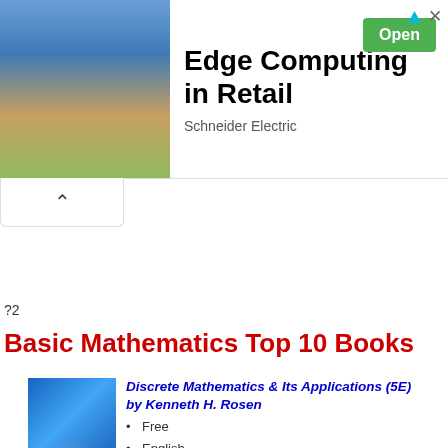[Figure (infographic): Advertisement banner for Edge Computing in Retail by Schneider Electric with retail store background image and green Open button]
?2
Basic Mathematics Top 10 Books
[Figure (photo): Book cover of Discrete Mathematics & Its Applications 5E by Kenneth H. Rosen with stacked stones image]
Discrete Mathematics & Its Applications (5E) by Kenneth H. Rosen
• Free
• English
• PDF 680 COPY
• Page 928
[Figure (photo): Book cover of Discrete Mathematics & Its Applications 5E Instructor Resource Guide by Kenneth H. Rosen]
Discrete Mathematics & Its Applications (5E) Instructor Resource Guide by Kenneth H. Rosen
• Free